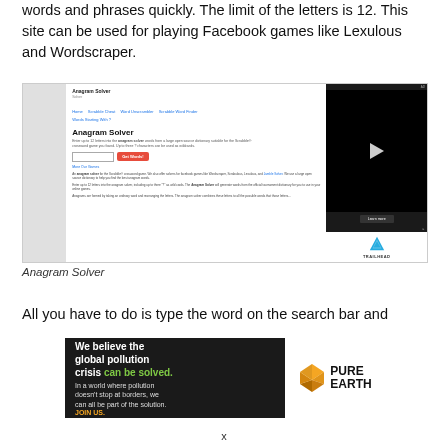words and phrases quickly. The limit of the letters is 12. This site can be used for playing Facebook games like Lexulous and Wordscraper.
[Figure (screenshot): Screenshot of the Anagram Solver website showing the main interface with navigation links, search input, 'Get Words!' button, and an advertisement panel on the right side featuring a video player and Trailhead logo.]
Anagram Solver
All you have to do is type the word on the search bar and
[Figure (infographic): Pure Earth advertisement banner with dark background on left showing 'We believe the global pollution crisis can be solved.' text and 'JOIN US.' call to action, and Pure Earth diamond logo on white background on the right.]